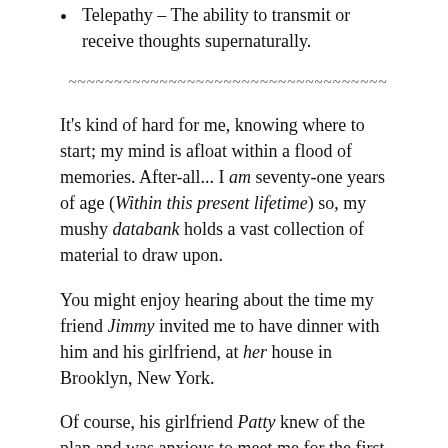Telepathy – The ability to transmit or receive thoughts supernaturally.
~~~~~~~~~~~~~~~~~~~~~~~~~~~~~~~~~~~
It's kind of hard for me, knowing where to start; my mind is afloat within a flood of memories. After-all... I am seventy-one years of age (Within this present lifetime) so, my mushy databank holds a vast collection of material to draw upon.
You might enjoy hearing about the time my friend Jimmy invited me to have dinner with him and his girlfriend, at her house in Brooklyn, New York.
Of course, his girlfriend Patty knew of the plan and was anxious to meet me for the first time. Jim had told her a few things about me, as well as having